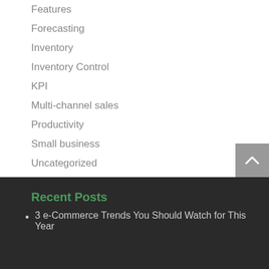Features
Forecasting
Inventory
Inventory Control
KPI
Multi-channel sales
Productivity
Small business
Uncategorized
Recent Posts
3 e-Commerce Trends You Should Watch for This Year